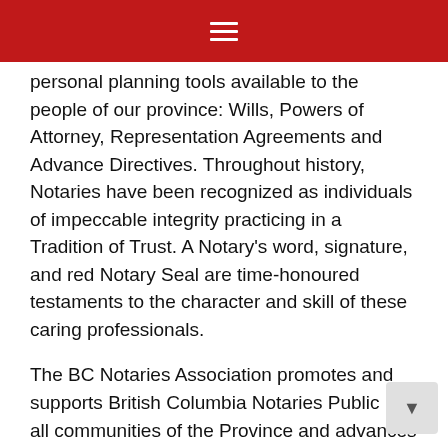personal planning tools available to the people of our province: Wills, Powers of Attorney, Representation Agreements and Advance Directives. Throughout history, Notaries have been recognized as individuals of impeccable integrity practicing in a Tradition of Trust. A Notary's word, signature, and red Notary Seal are time-honoured testaments to the character and skill of these caring professionals.
The BC Notaries Association promotes and supports British Columbia Notaries Public in all communities of the Province and advances the standing of its members and awareness of their services to the public.